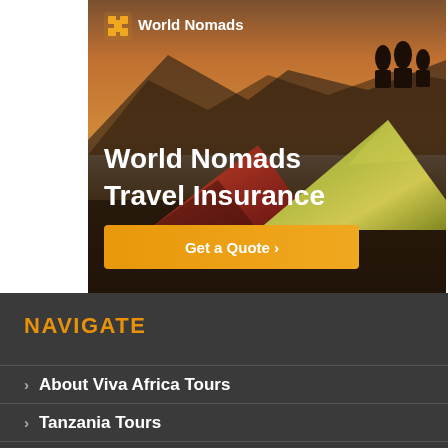[Figure (advertisement): World Nomads Travel Insurance advertisement banner with mountain/tent camping background image. Shows World Nomads logo at top, bold white headline text 'World Nomads Travel Insurance', and an orange 'Get a Quote ›' call-to-action button.]
NAVIGATE
About Viva Africa Tours
Tanzania Tours
Wildlife Safaris